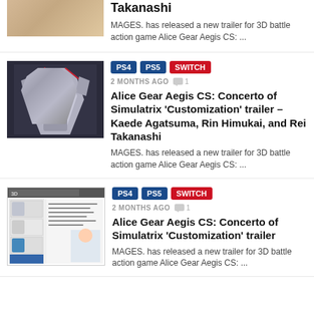[Figure (photo): Partial top article thumbnail cut off at top]
Takanashi
MAGES. has released a new trailer for 3D battle action game Alice Gear Aegis CS: ...
[Figure (photo): Robot/mech character in dark background]
PS4  PS5  SWITCH
2 MONTHS AGO  1
Alice Gear Aegis CS: Concerto of Simulatrix 'Customization' trailer – Kaede Agatsuma, Rin Himukai, and Rei Takanashi
MAGES. has released a new trailer for 3D battle action game Alice Gear Aegis CS: ...
[Figure (screenshot): Game screenshot showing character selection menu]
PS4  PS5  SWITCH
2 MONTHS AGO  1
Alice Gear Aegis CS: Concerto of Simulatrix 'Customization' trailer
MAGES. has released a new trailer for 3D battle action game Alice Gear Aegis CS: ...